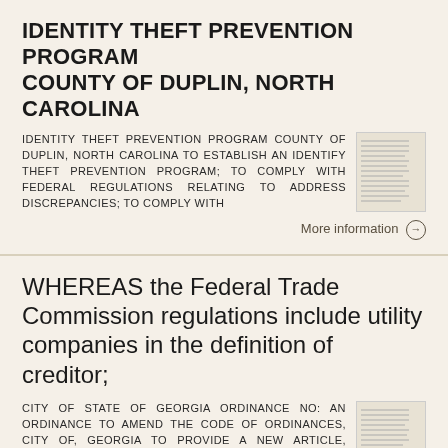IDENTITY THEFT PREVENTION PROGRAM COUNTY OF DUPLIN, NORTH CAROLINA
IDENTITY THEFT PREVENTION PROGRAM COUNTY OF DUPLIN, NORTH CAROLINA TO ESTABLISH AN IDENTIFY THEFT PREVENTION PROGRAM; TO COMPLY WITH FEDERAL REGULATIONS RELATING TO ADDRESS DISCREPANCIES; TO COMPLY WITH
[Figure (other): Thumbnail of document page with dense text]
More information →
WHEREAS the Federal Trade Commission regulations include utility companies in the definition of creditor;
CITY OF STATE OF GEORGIA ORDINANCE NO: AN ORDINANCE TO AMEND THE CODE OF ORDINANCES, CITY OF, GEORGIA TO PROVIDE A NEW ARTICLE, IDENTITY THEFT PREVENTION PROGRAM; TO COMPLY WITH
[Figure (other): Thumbnail of document page with dense text]